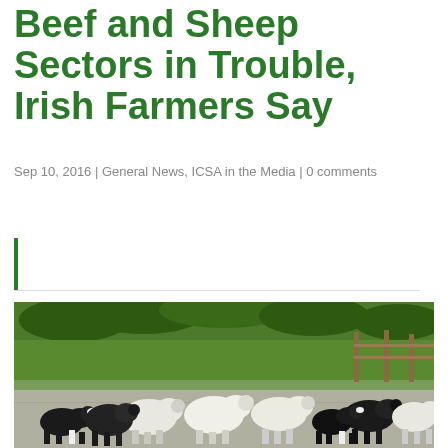Beef and Sheep Sectors in Trouble, Irish Farmers Say
Sep 10, 2016 | General News, ICSA in the Media | 0 comments
[Figure (photo): A collie sheepdog herding a group of sheep and cattle along a rural road, with green hedgerows and rolling Irish countryside in the background.]